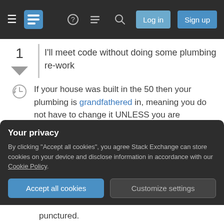Stack Exchange navigation bar with Log in and Sign up buttons
1
[vote down arrow]
I'll meet code without doing some plumbing re-work
If your house was built in the 50 then your plumbing is grandfathered in, meaning you do not have to change it UNLESS you are remolding your laundry room. ( of course you can if you wish )
The diagram shows you two acceptable ways to do it, make sure there is an air gap and the hose is secured at the stand pipe, a zip-tie ( cable tie ) is the
Your privacy
By clicking "Accept all cookies", you agree Stack Exchange can store cookies on your device and disclose information in accordance with our Cookie Policy.
[Accept all cookies] [Customize settings]
punctured.